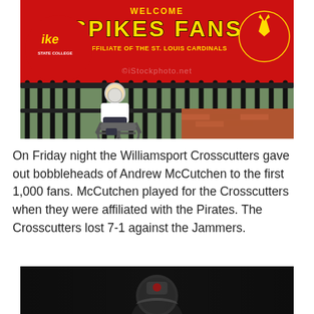[Figure (photo): A person in a wheelchair sitting in front of a red banner reading 'WELCOME SPIKES FANS - AFFILIATE OF THE ST. LOUIS CARDINALS' with black iron fence behind them. Brick ground visible to the right. State College Spikes logos on the banner.]
On Friday night the Williamsport Crosscutters gave out bobbleheads of Andrew McCutchen to the first 1,000 fans.  McCutchen played for the Crosscutters when they were affiliated with the Pirates.  The Crosscutters lost 7-1 against the Jammers.
[Figure (photo): Bottom portion of a dark photo showing what appears to be a bobblehead figure against a black background.]